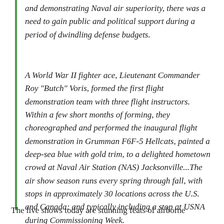and demonstrating Naval air superiority, there was a need to gain public and political support during a period of dwindling defense budgets.
A World War II fighter ace, Lieutenant Commander Roy "Butch" Voris, formed the first flight demonstration team with three flight instructors. Within a few short months of forming, they choreographed and performed the inaugural flight demonstration in Grumman F6F-5 Hellcats, painted a deep-sea blue with gold trim, to a delighted hometown crowd at Naval Air Station (NAS) Jacksonville...The air show season runs every spring through fall, with stops in approximately 30 locations across the U.S. and Canada; and typically including a stop at USNA during Commissioning Week.
The live shows today are stunning feats of airborne